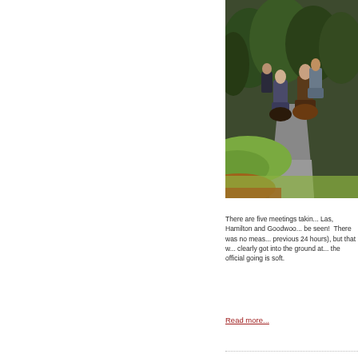[Figure (photo): Group of horseback riders on a paved path surrounded by green trees and grass, with red dirt visible on the side, riding toward the camera.]
There are five meetings taking place at Las, Hamilton and Goodwood ... be seen! There was no meas... previous 24 hours), but that w... clearly got into the ground at... the official going is soft.
Read more...